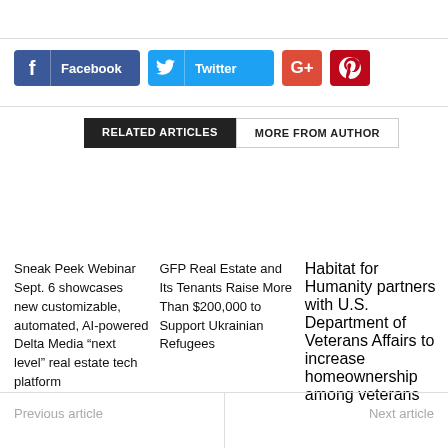[Figure (other): Social share buttons: Facebook (blue), Twitter (light blue), Google+ (red-orange), Pinterest (red)]
RELATED ARTICLES
MORE FROM AUTHOR
Sneak Peek Webinar Sept. 6 showcases new customizable, automated, AI-powered Delta Media “next level” real estate tech platform
GFP Real Estate and Its Tenants Raise More Than $200,000 to Support Ukrainian Refugees
Habitat for Humanity partners with U.S. Department of Veterans Affairs to increase homeownership among veterans
Previous article
Next article